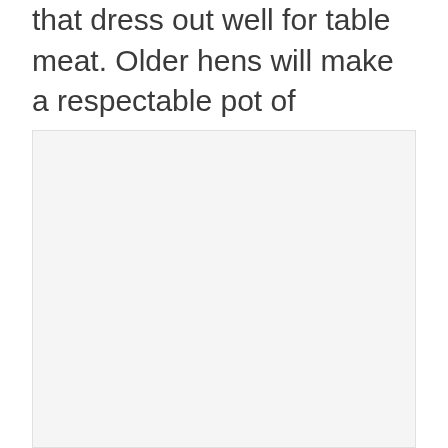that dress out well for table meat. Older hens will make a respectable pot of dumplings or chicken soup.
[Figure (photo): A large light-gray rectangular image placeholder occupying the bottom two-thirds of the page.]